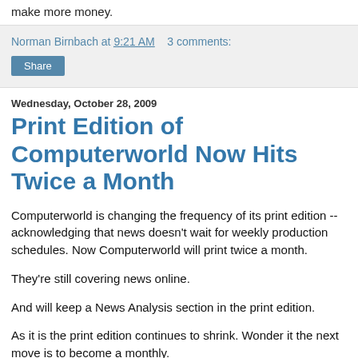make more money.
Norman Birnbach at 9:21 AM   3 comments:
Share
Wednesday, October 28, 2009
Print Edition of Computerworld Now Hits Twice a Month
Computerworld is changing the frequency of its print edition -- acknowledging that news doesn't wait for weekly production schedules. Now Computerworld will print twice a month.
They're still covering news online.
And will keep a News Analysis section in the print edition.
As it is the print edition continues to shrink. Wonder it the next move is to become a monthly.